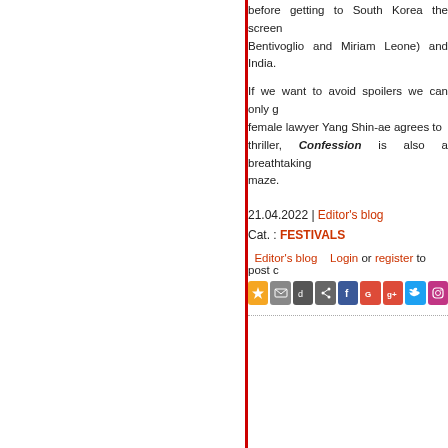before getting to South Korea the screen Bentivoglio and Miriam Leone) and India.
If we want to avoid spoilers we can only g female lawyer Yang Shin-ae agrees to thriller, Confession is also a breathtaking maze.
21.04.2022 | Editor's blog
Cat. : FESTIVALS
Editor's blog   Login or register to post c
[Figure (other): Row of social media sharing icons: star/bookmark (yellow), email (grey), digg (dark grey), share (grey), Facebook (blue), Google (red), Google+ (red), Twitter (light blue), Instagram (pink/purple)]